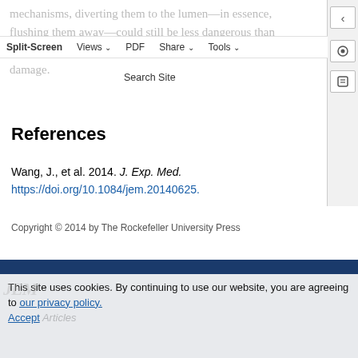mechanisms, diverting them to the lumen—in essence, flushing them away—could still be less dangerous than allowing them to remain in situ and risking lung tissue damage.
References
Wang, J., et al. 2014. J. Exp. Med. https://doi.org/10.1084/jem.20140625.
Copyright © 2014 by The Rockefeller University Press
This site uses cookies. By continuing to use our website, you are agreeing to our privacy policy. Accept